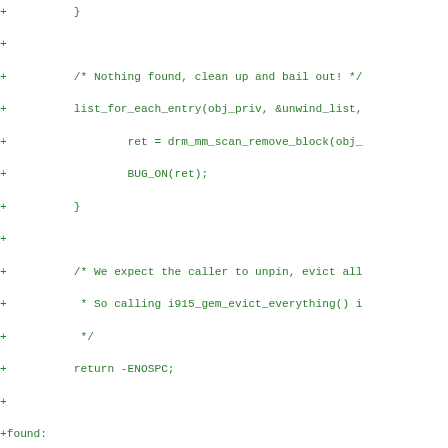[Figure (other): Source code diff showing C code additions (green, +) and removals (red, -) for a kernel/GPU memory management function involving drm_mm scan, eviction lists, and ENOSPC handling.]